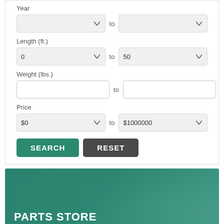Year
to
Length (ft.)
0 to 50
Weight (lbs.)
Price
$0 to $1000000
SEARCH
RESET
[Figure (screenshot): Parts Store banner with teal background showing store interior. Text: PARTS STORE, Come & Visit our Parts Store., We're open all year round!]